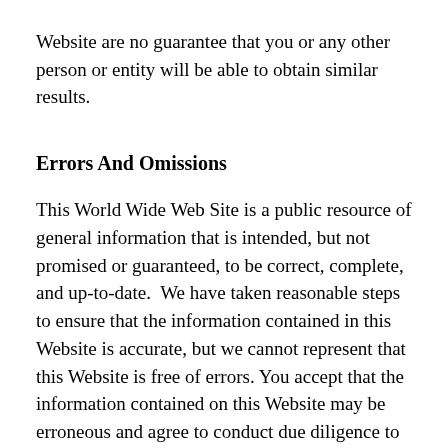Website are no guarantee that you or any other person or entity will be able to obtain similar results.
Errors And Omissions
This World Wide Web Site is a public resource of general information that is intended, but not promised or guaranteed, to be correct, complete, and up-to-date. We have taken reasonable steps to ensure that the information contained in this Website is accurate, but we cannot represent that this Website is free of errors. You accept that the information contained on this Website may be erroneous and agree to conduct due diligence to verify any information obtained from this Website and/or resources available on it prior to taking any action. You expressly agree not to rely upon any